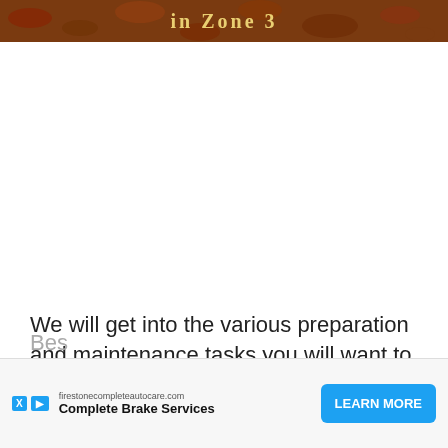[Figure (photo): Hero image showing autumn leaves and garden scene with decorative text overlay reading 'in Zone 3' in serifed golden font]
We will get into the various preparation and maintenance tasks you will want to do later on. First, let's get our seeds or seedlings into the garden.
[Figure (other): Advertisement banner: firestonecompleteautocare.com — Complete Brake Services — LEARN MORE button. X and play icons visible.]